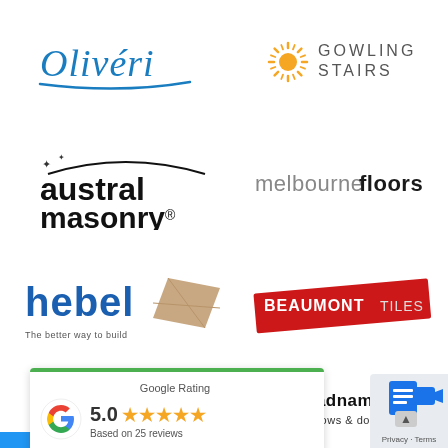[Figure (logo): Oliveri logo in blue cursive script with underline]
[Figure (logo): Gowling Stairs logo with orange sunburst icon and gray sans-serif text]
[Figure (logo): Austral Masonry logo with black text and decorative star/sparkle element]
[Figure (logo): melbournefloors logo in gray and bold dark text]
[Figure (logo): hebel logo in blue text with brick graphic and tagline 'The better way to build']
[Figure (logo): Beaumont Tiles logo on red tilted rectangle with white text]
[Figure (infographic): Google Rating widget showing 5.0 stars and 'Based on 25 reviews', with Google G logo and green top border]
[Figure (logo): Bradnam's windows & doors logo with orange icon and bold black text]
[Figure (other): Privacy Terms corner widget with blue document icon and small text 'Privacy · Terms']